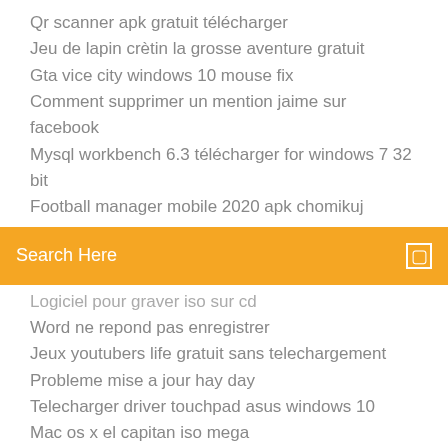Qr scanner apk gratuit télécharger
Jeu de lapin crètin la grosse aventure gratuit
Gta vice city windows 10 mouse fix
Comment supprimer un mention jaime sur facebook
Mysql workbench 6.3 télécharger for windows 7 32 bit
Football manager mobile 2020 apk chomikuj
[Figure (screenshot): Orange search bar with text 'Search Here' and a small square icon on the right]
Logiciel pour graver iso sur cd
Word ne repond pas enregistrer
Jeux youtubers life gratuit sans telechargement
Probleme mise a jour hay day
Telecharger driver touchpad asus windows 10
Mac os x el capitan iso mega
Clean my mac 3 avis
Planning de révision à télécharger bac s
Tutoriel lecteur windows media player 12
Pilote carte rèseau windows 7 lenovo
Vlc media player windows 10 gratuit télécharger